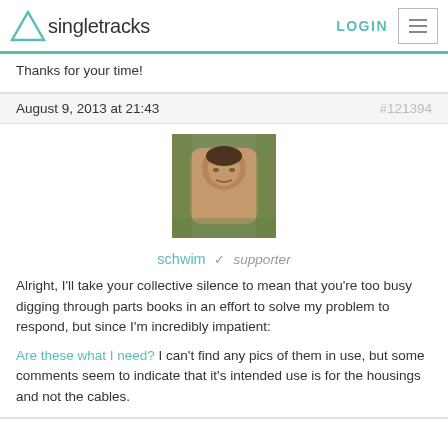Singletracks | LOGIN
Thanks for your time!
August 9, 2013 at 21:43   #121394
[Figure (photo): User avatar photo of schwim, a person photographed from above lying down outdoors]
schwim ✓ supporter
Alright, I'll take your collective silence to mean that you're too busy digging through parts books in an effort to solve my problem to respond, but since I'm incredibly impatient:

Are these what I need? I can't find any pics of them in use, but some comments seem to indicate that it's intended use is for the housings and not the cables.